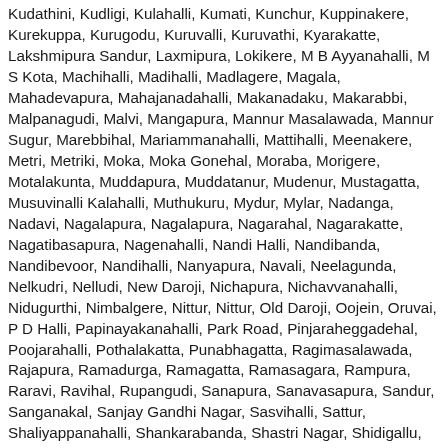Kudathini, Kudligi, Kulahalli, Kumati, Kunchur, Kuppinakere, Kurekuppa, Kurugodu, Kuruvalli, Kuruvathi, Kyarakatte, Lakshmipura Sandur, Laxmipura, Lokikere, M B Ayyanahalli, M S Kota, Machihalli, Madihalli, Madlagere, Magala, Mahadevapura, Mahajanadahalli, Makanadaku, Makarabbi, Malpanagudi, Malvi, Mangapura, Mannur Masalawada, Mannur Sugur, Marebbihal, Mariammanahalli, Mattihalli, Meenakere, Metri, Metriki, Moka, Moka Gonehal, Moraba, Morigere, Motalakunta, Muddapura, Muddatanur, Mudenur, Mustagatta, Musuvinalli Kalahalli, Muthukuru, Mydur, Mylar, Nadanga, Nadavi, Nagalapura, Nagalapura, Nagarahal, Nagarakatte, Nagatibasapura, Nagenahalli, Nandi Halli, Nandibanda, Nandibevoor, Nandihalli, Nanyapura, Navali, Neelagunda, Nelkudri, Nelludi, New Daroji, Nichapura, Nichavvanahalli, Nidugurthi, Nimbalgere, Nittur, Nittur, Old Daroji, Oojein, Oruvai, P D Halli, Papinayakanahalli, Park Road, Pinjaraheggadehal, Poojarahalli, Pothalakatta, Punabhagatta, Ragimasalawada, Rajapura, Ramadurga, Ramagatta, Ramasagara, Rampura, Raravi, Ravihal, Rupangudi, Sanapura, Sanavasapura, Sandur, Sanganakal, Sanjay Gandhi Nagar, Sasvihalli, Sattur, Shaliyappanahalli, Shankarabanda, Shastri Nagar, Shidigallu, Shivapura, Siddammanahalli, Siddapura, Sidiginamola, Sindhavalam, Sindhigere, Singrihalli, Siriganahalli, Siriwara Kappagal, Siruguppa, Siruguppa Sadashivanagar, Sogi, Somalapura, Somasamudra, Soona